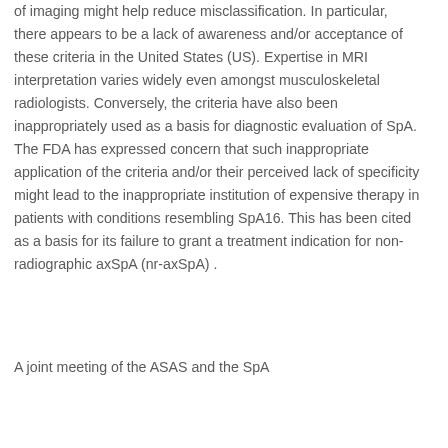of imaging might help reduce misclassification. In particular, there appears to be a lack of awareness and/or acceptance of these criteria in the United States (US). Expertise in MRI interpretation varies widely even amongst musculoskeletal radiologists. Conversely, the criteria have also been inappropriately used as a basis for diagnostic evaluation of SpA. The FDA has expressed concern that such inappropriate application of the criteria and/or their perceived lack of specificity might lead to the inappropriate institution of expensive therapy in patients with conditions resembling SpA16. This has been cited as a basis for its failure to grant a treatment indication for non-radiographic axSpA (nr-axSpA) .
A joint meeting of the ASAS and the SpA